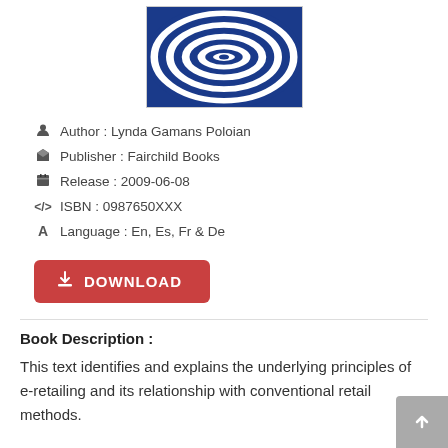[Figure (illustration): Book cover with blue and white concentric oval/spiral pattern creating a tunnel effect]
Author : Lynda Gamans Poloian
Publisher : Fairchild Books
Release : 2009-06-08
ISBN : 0987650XXX
Language : En, Es, Fr & De
DOWNLOAD
Book Description :
This text identifies and explains the underlying principles of e-retailing and its relationship with conventional retail methods.